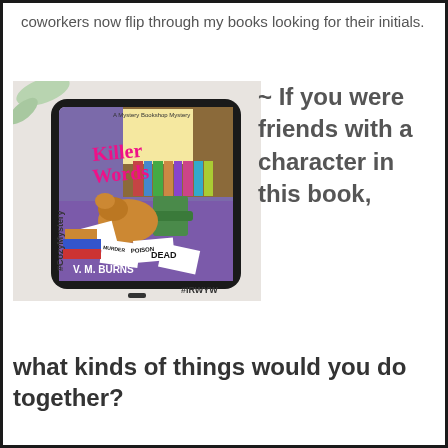coworkers now flip through my books looking for their initials.
[Figure (photo): A tablet displaying the book cover of 'Killer Words' by V. M. Burns, a Mystery Bookshop Mystery, showing a bookshop scene with a dog, scattered papers with words like DEAD, POISON, MURDER, and bookshelves. The tablet is on a light surface with a plant in the background. Text on left reads #CozyMystery, text at bottom right reads #IRWYW.]
~ If you were friends with a character in this book,
what kinds of things would you do together?